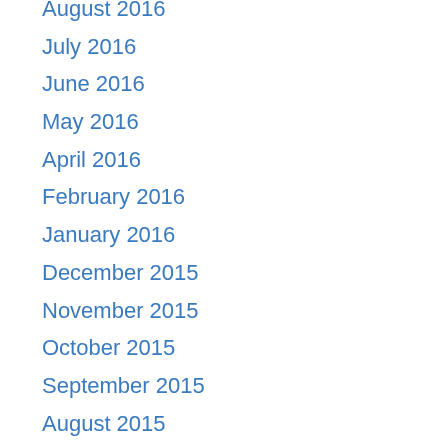August 2016
July 2016
June 2016
May 2016
April 2016
February 2016
January 2016
December 2015
November 2015
October 2015
September 2015
August 2015
July 2015
June 2015
May 2015